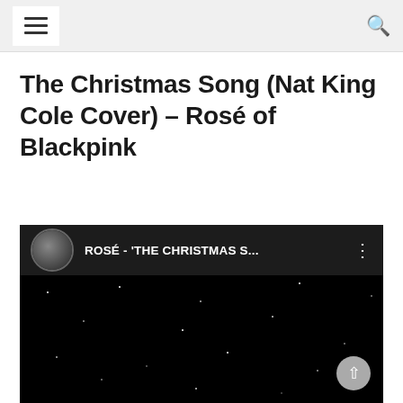Navigation header with hamburger menu and search icon
The Christmas Song (Nat King Cole Cover) – Rosé of Blackpink
[Figure (screenshot): YouTube video embed showing ROSÉ - 'THE CHRISTMAS S...' with a dark background with stars and a channel avatar on the left]